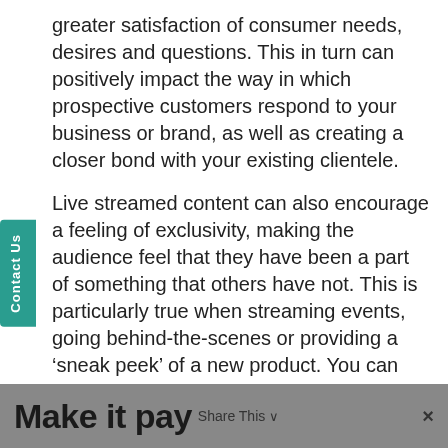greater satisfaction of consumer needs, desires and questions. This in turn can positively impact the way in which prospective customers respond to your business or brand, as well as creating a closer bond with your existing clientele.
Live streamed content can also encourage a feeling of exclusivity, making the audience feel that they have been a part of something that others have not. This is particularly true when streaming events, going behind-the-scenes or providing a ‘sneak peek’ of a new product. You can enhance this impression by offering discounts or deals within a live stream that cannot be obtained elsewhere.
Make it pay  Share This  ×